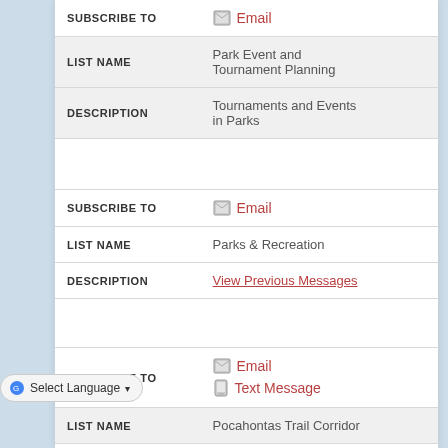| Field | Value |
| --- | --- |
| SUBSCRIBE TO | Email |
| LIST NAME | Park Event and Tournament Planning |
| DESCRIPTION | Tournaments and Events in Parks |
| SUBSCRIBE TO | Email |
| LIST NAME | Parks & Recreation |
| DESCRIPTION | View Previous Messages |
| SUBSCRIBE TO | Email / Text Message |
| LIST NAME | Pocahontas Trail Corridor |